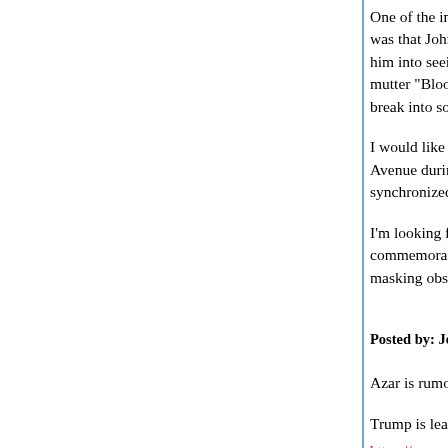One of the interesting little tidbits regarding the Le... was that John HATED musicals and on the odd o... him into seeing a musical in a theater, John woul... mutter "Bloody Hell" when a character would, halt... break into song, as Paul, of course, toe-tapped al...
I would like it if in everyday life crowds of people,... Avenue during rush hour to see who trump murde... synchronized dance number.
I'm looking forward to Busby Berkeley-style song... commemorating the Covid year, with, of course, p... masking observed.
Posted by: John Thullen | April 26, 2020 at 07:05 PM
Azar is rumored to be out at Health and Human S...
Trump is leaning toward this replacement, a geniu...
https://www.youtube.com/watch?v=Mx7W9SFM9...
Posted by: John Thullen | April 26, 2020 at 07:52 PM